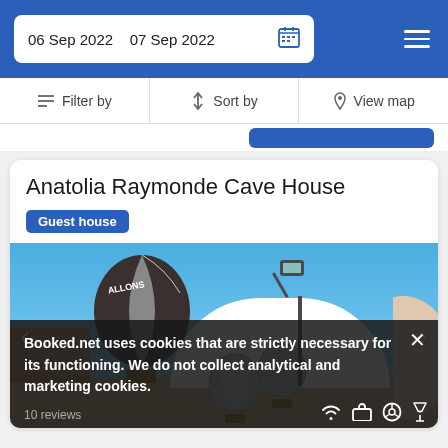06 Sep 2022   07 Sep 2022
Filter by   Sort by   View map
Anatolia Raymonde Cave House
Guest house
[Figure (photo): Hot air balloons floating in a blue sky above cave houses and domed rooftops in Cappadocia, Turkey. A large dark-colored balloon is prominent on the left with text 'ALLONS' visible. Two silver balloons are seen in the background. A vintage lamp post stands in the center-right.]
Booked.net uses cookies that are strictly necessary for its functioning. We do not collect analytical and marketing cookies.
10 reviews